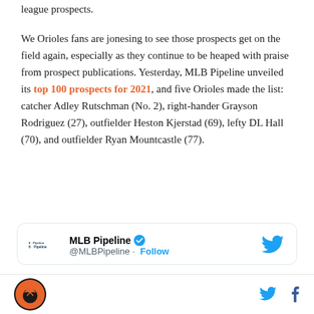league prospects.
We Orioles fans are jonesing to see those prospects get on the field again, especially as they continue to be heaped with praise from prospect publications. Yesterday, MLB Pipeline unveiled its top 100 prospects for 2021, and five Orioles made the list: catcher Adley Rutschman (No. 2), right-hander Grayson Rodriguez (27), outfielder Heston Kjerstad (69), lefty DL Hall (70), and outfielder Ryan Mountcastle (77).
[Figure (screenshot): Embedded tweet from @MLBPipeline with MLB Pipeline logo, verified checkmark, Follow button, and Twitter bird icon]
SB Nation logo | Twitter icon | Facebook icon